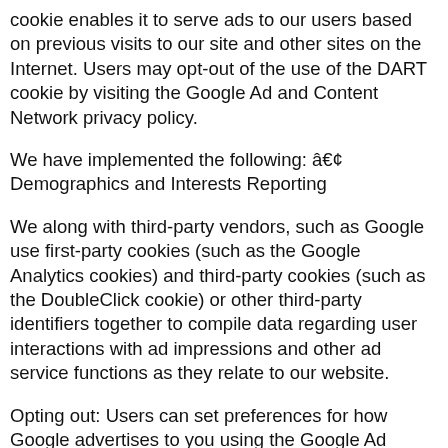cookie enables it to serve ads to our users based on previous visits to our site and other sites on the Internet. Users may opt-out of the use of the DART cookie by visiting the Google Ad and Content Network privacy policy.
We have implemented the following: • Demographics and Interests Reporting
We along with third-party vendors, such as Google use first-party cookies (such as the Google Analytics cookies) and third-party cookies (such as the DoubleClick cookie) or other third-party identifiers together to compile data regarding user interactions with ad impressions and other ad service functions as they relate to our website.
Opting out: Users can set preferences for how Google advertises to you using the Google Ad Settings page. Alternatively, you can opt out by